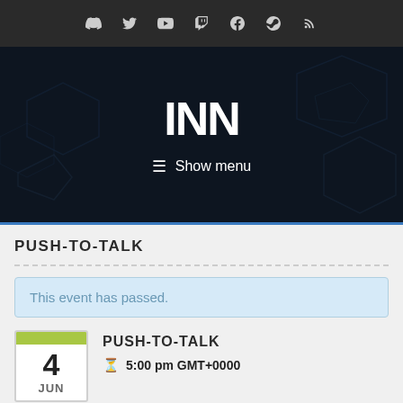Social icons bar: Discord, Twitter, YouTube, Twitch, Facebook, Steam, RSS
[Figure (logo): INN logo on dark blue/black background with hexagonal graphic elements and Show menu button]
PUSH-TO-TALK
This event has passed.
PUSH-TO-TALK
5:00 pm GMT+0000